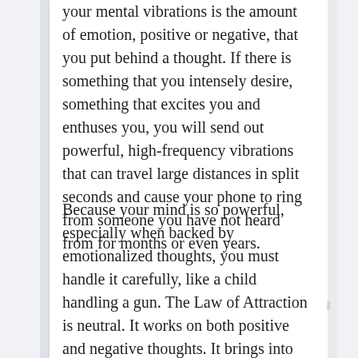your mental vibrations is the amount of emotion, positive or negative, that you put behind a thought. If there is something that you intensely desire, something that excites you and enthuses you, you will send out powerful, high-frequency vibrations that can travel large distances in split seconds and cause your phone to ring from someone you have not heard from for months or even years.
Because your mind is so powerful, especially when backed by emotionalized thoughts, you must handle it carefully, like a child handling a gun. The Law of Attraction is neutral. It works on both positive and negative thoughts. It brings into your life whatever you are thinking about on a regular basis with either fear or desire.
When the book, “The Secret” came out, along with the movie, I was happily surprised to see that the first half of the movie comes from my audio